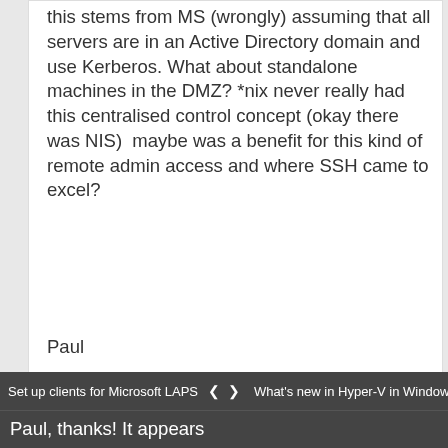this stems from MS (wrongly) assuming that all servers are in an Active Directory domain and use Kerberos. What about standalone machines in the DMZ? *nix never really had this centralised control concept (okay there was NIS)  maybe was a benefit for this kind of remote admin access and where SSH came to excel?
Paul
REPLY
Michael Pietroforte (Rank 4)
3 years ago
Paul, thanks! It appears
PowerShell Remoting was build for...
Set up clients for Microsoft LAPS (... | < > | What's new in Hyper-V in Windows...